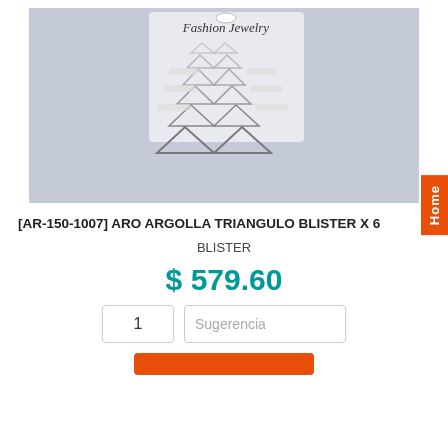[Figure (photo): Product photo of silver triangle hoop earrings set (Aro Argolla Triangulo) on a Fashion Jewelry display card, showing multiple pairs stacked, against a light blue-grey background.]
[AR-150-1007] ARO ARGOLLA TRIANGULO BLISTER X 6
BLISTER
$ 579.60
1
Sugerencia